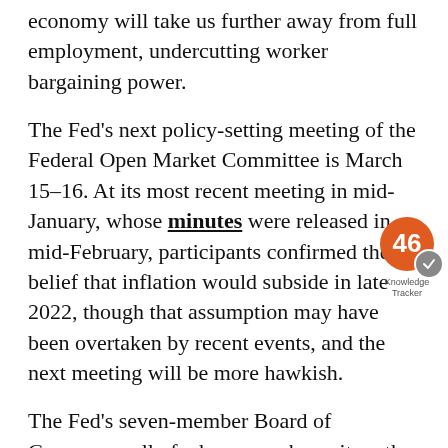economy will take us further away from full employment, undercutting worker bargaining power.
The Fed's next policy-setting meeting of the Federal Open Market Committee is March 15–16. At its most recent meeting in mid-January, whose minutes were released in mid-February, participants confirmed their belief that inflation would subside in late 2022, though that assumption may have been overtaken by recent events, and the next meeting will be more hawkish.
The Fed's seven-member Board of Governors, all of whose members sit on the Open Market Committee, is currently down three members, because of the delay in Senate confirmation of President Biden's three nominees. Sarah Bl...